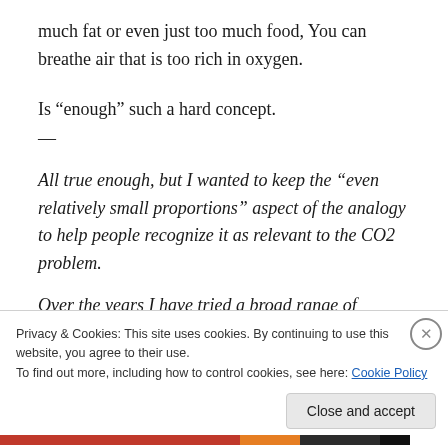much fat or even just too much food, You can breathe air that is too rich in oxygen.
Is “enough” such a hard concept.
—
All true enough, but I wanted to keep the “even relatively small proportions” aspect of the analogy to help people recognize it as relevant to the CO2 problem.
Over the years I have tried a broad range of
Privacy & Cookies: This site uses cookies. By continuing to use this website, you agree to their use.
To find out more, including how to control cookies, see here: Cookie Policy
Close and accept